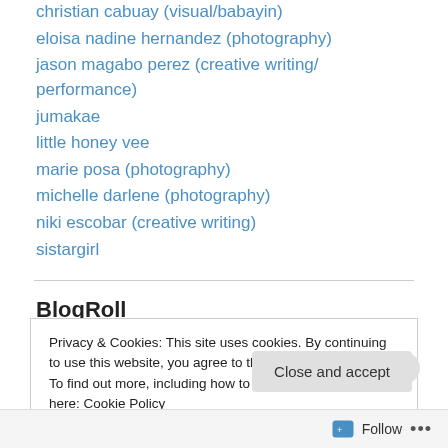christian cabuay (visual/babayin)
eloisa nadine hernandez (photography)
jason magabo perez (creative writing/ performance)
jumakae
little honey vee
marie posa (photography)
michelle darlene (photography)
niki escobar (creative writing)
sistargirl
BlogRoll
finding genesis
Privacy & Cookies: This site uses cookies. By continuing to use this website, you agree to their use. To find out more, including how to control cookies, see here: Cookie Policy
Close and accept
Follow